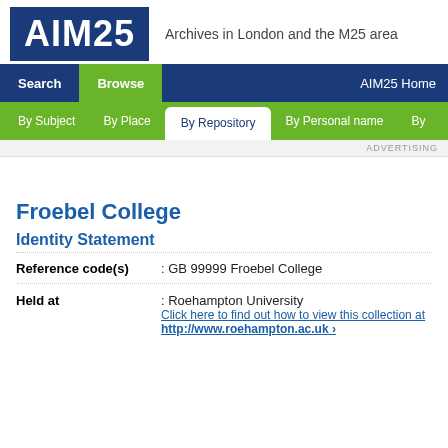AIM25 — Archives in London and the M25 area
Search | Browse | AIM25 Home | By Subject | By Place | By Repository | By Personal name | By
Froebel College
Identity Statement
| Field | Value |
| --- | --- |
| Reference code(s) | : GB 99999 Froebel College |
| Held at | : Roehampton University
Click here to find out how to view this collection at
http://www.roehampton.ac.uk › |